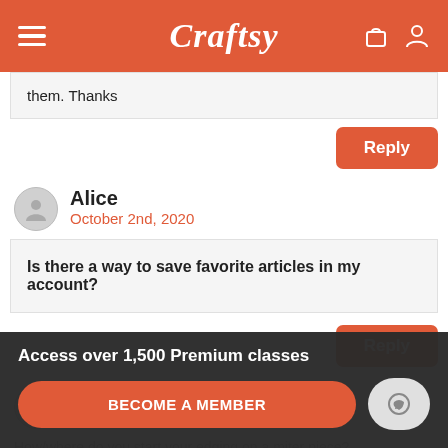Craftsy
them. Thanks
Reply
Alice
October 2nd, 2020
Is there a way to save favorite articles in my account?
Reply
Michele Powell
September 24th, 2020
How/where do you start your edging on a miter piece?
Access over 1,500 Premium classes
BECOME A MEMBER